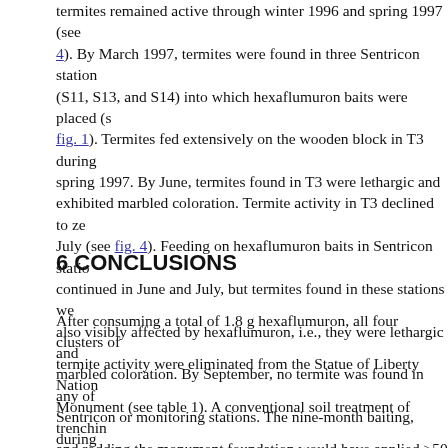termites remained active through winter 1996 and spring 1997 (see fig. 4). By March 1997, termites were found in three Sentricon stations (S11, S13, and S14) into which hexaflumuron baits were placed (see fig. 1). Termites fed extensively on the wooden block in T3 during spring 1997. By June, termites found in T3 were lethargic and exhibited marbled coloration. Termite activity in T3 declined to zero in July (see fig. 4). Feeding on hexaflumuron baits in Sentricon stations continued in June and July, but termites found in these stations were also visibly affected by hexaflumuron, i.e., they were lethargic and marbled coloration. By September, no termite was found in any of the Sentricon or monitoring stations. The nine-month baiting, during which 200 mg of hexaflumuron was consumed, apparently eliminated the EXT population (see table 1, p. 292).
6 CONCLUSIONS
After consuming a total of 1.8 g hexaflumuron, all four clusters of termite activity were eliminated from the Statue of Liberty National Monument (see table 1). A conventional soil treatment of trenching and rodding the monument foundation would have applied >50 kg insecticide (active ingredient), and such a soil treatment probably would have only excluded, instead of eliminating, soil-borne termites from the structure. The baiting program required considerably less